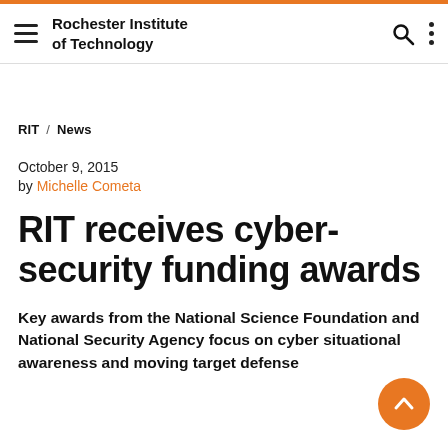Rochester Institute of Technology
RIT / News
October 9, 2015
by Michelle Cometa
RIT receives cyber-security funding awards
Key awards from the National Science Foundation and National Security Agency focus on cyber situational awareness and moving target defense